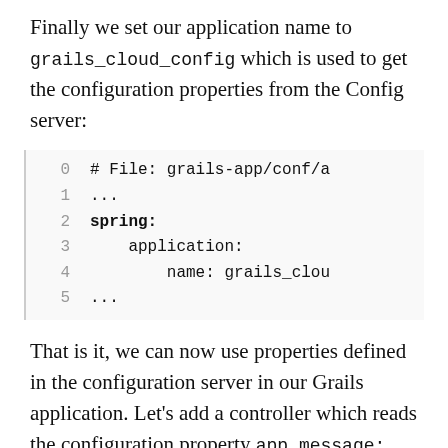Finally we set our application name to grails_cloud_config which is used to get the configuration properties from the Config server:
[Figure (other): Code block with line numbers 0-5 showing YAML configuration: # File: grails-app/conf/a, ..., spring:, application:, name: grails_clou, ...]
That is it, we can now use properties defined in the configuration server in our Grails application. Let's add a controller which reads the configuration property app.message: